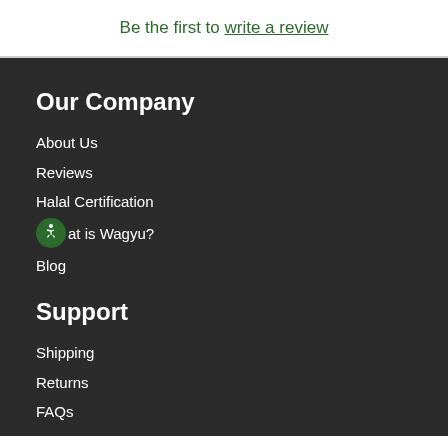Be the first to write a review
Our Company
About Us
Reviews
Halal Certification
What is Wagyu?
Blog
Support
Shipping
Returns
FAQs
Terms of Service
Privacy Policy
Contact Us